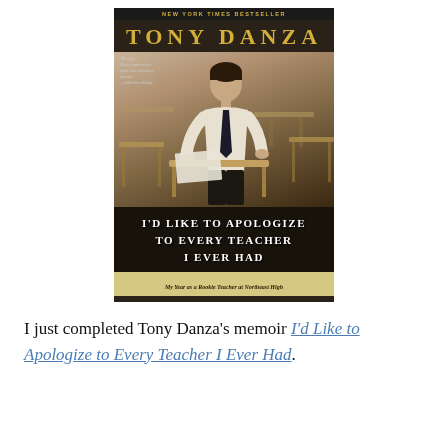[Figure (photo): Book cover of 'I'd Like to Apologize to Every Teacher I Ever Had' by Tony Danza. New York Times Bestseller banner at top. Author name in gold lettering. Black and white sepia photo of a man in a white shirt and tie sitting at a school desk among empty desks. Title in white uppercase letters on dark background. Subtitle bar reads 'My Year as a Rookie Teacher at Northeast High'.]
I just completed Tony Danza's memoir I'd Like to Apologize to Every Teacher I Ever Had.